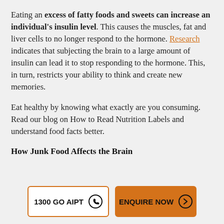Eating an excess of fatty foods and sweets can increase an individual's insulin level. This causes the muscles, fat and liver cells to no longer respond to the hormone. Research indicates that subjecting the brain to a large amount of insulin can lead it to stop responding to the hormone. This, in turn, restricts your ability to think and create new memories.
Eat healthy by knowing what exactly are you consuming. Read our blog on How to Read Nutrition Labels and understand food facts better.
How Junk Food Affects the Brain